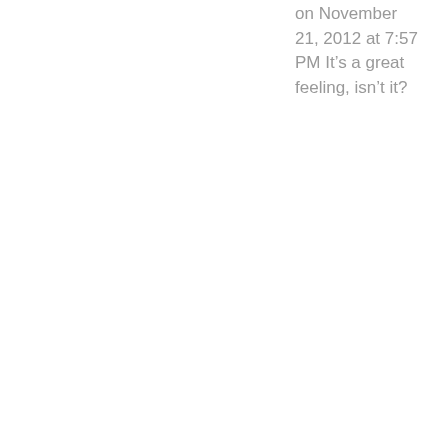on November 21, 2012 at 7:57 PM It’s a great feeling, isn’t it?